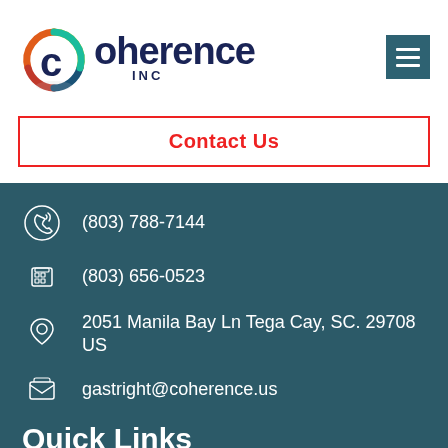[Figure (logo): Coherence INC logo with colorful circular icon and dark navy text]
Contact Us
(803) 788-7144
(803) 656-0523
2051 Manila Bay Ln Tega Cay, SC. 29708 US
gastright@coherence.us
Quick Links